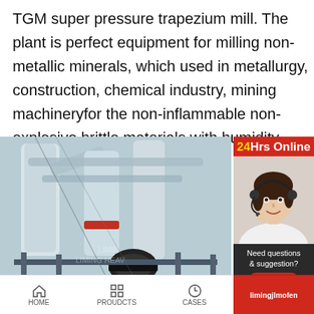TGM super pressure trapezium mill. The plant is perfect equipment for milling non-metallic minerals, which used in metallurgy, construction, chemical industry, mining machineryfor the non-inflammable non-explosive brittle materials with humidity below 6%.
[Figure (photo): Industrial TGM super pressure trapezium mill machinery plant with large white cylindrical structures, pipes, and motor equipment. Liming Heavy Industry watermark visible.]
[Figure (photo): Customer service agent with headset smiling, next to '24Hrs Online' banner in red. Sidebar with 'Need questions & suggestion?' text, 'Chat Now' button in red, 'Enquiry' option, and 'limingjlmofen' link.]
Learn More About Liming® T
HOME   PROUDCTS   CASES   limingjlmofen